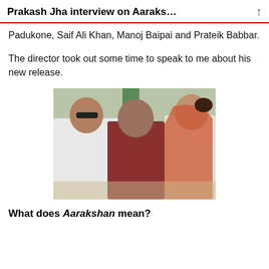Prakash Jha interview on Aaraks…
Padukone, Saif Ali Khan, Manoj Baipai and Prateik Babbar.
The director took out some time to speak to me about his new release.
[Figure (photo): On-set photo showing three people in conversation: a man in a white striped shirt on the left, a man in a red plaid shirt in the center (appears to be the director), and a woman in a red/orange dupatta on the right. Several other people visible in the background.]
What does Aarakshan mean?